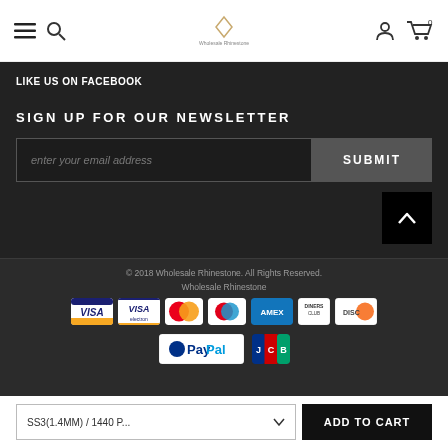Navigation bar with menu, search, logo, account and cart icons
LIKE US ON FACEBOOK
SIGN UP FOR OUR NEWSLETTER
enter your email address [SUBMIT button]
© 2018 Wholesale Rhinestone. All Rights Reserved. Wholesale Rhinestone
[Figure (other): Payment method icons: Visa, Visa Electron, Mastercard, Maestro, American Express, Diners Club, Discover, PayPal, JCB]
SS3(1.4MM) / 1440 P... ADD TO CART